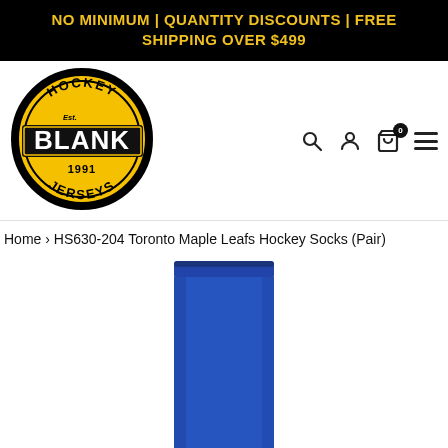NO MINIMUM | QUANTITY DISCOUNTS | FREE SHIPPING OVER $499
[Figure (logo): Hockey Blank Jerseys circular logo — yellow circle with black border, black rectangle center with BLANK in large bold letters, HOCKEY arced at top, JERSEYS arced at bottom, Est. and 1991 inside circle]
Home › HS630-204 Toronto Maple Leafs Hockey Socks (Pair)
[Figure (photo): Blue Toronto Maple Leafs hockey sock shown vertically, solid royal blue color, shown from approximately the calf/top portion down, white background]